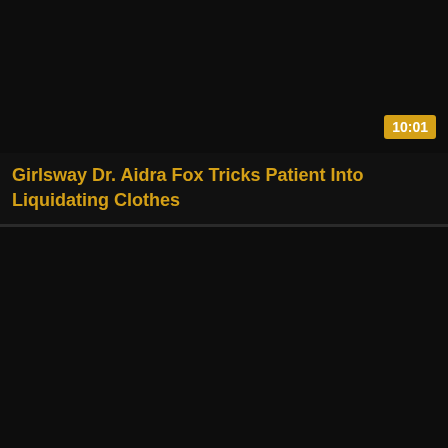[Figure (screenshot): Dark video thumbnail placeholder, top card]
Girlsway Dr. Aidra Fox Tricks Patient Into Liquidating Clothes
[Figure (screenshot): Dark video thumbnail placeholder, bottom card]